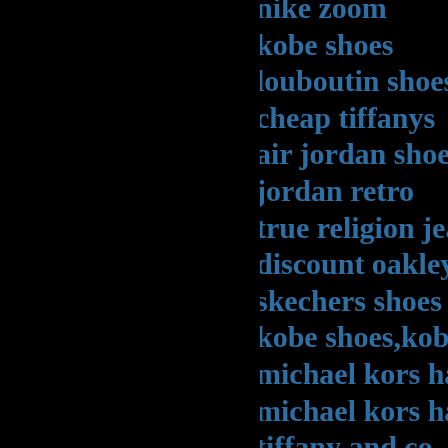nike zoom
kobe shoes
louboutin shoes uk
cheap tiffanys
air jordan shoes
jordan retro
true religion jeans
discount oakley sunglasses
skechers shoes
kobe shoes,kobe zoom
michael kors handbags
michael kors handbags
tiffany and co
adidas nmd runner
michael kors outlet
ralph lauren online
christian louboutin
michael kors handbags